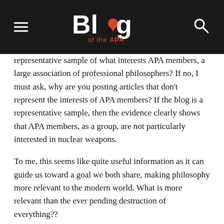Blog of the APA
representative sample of what interests APA members, a large association of professional philosophers? If no, I must ask, why are you posting articles that don't represent the interests of APA members? If the blog is a representative sample, then the evidence clearly shows that APA members, as a group, are not particularly interested in nuclear weapons.
To me, this seems like quite useful information as it can guide us toward a goal we both share, making philosophy more relevant to the modern world. What is more relevant than the ever pending destruction of everything??
As to violence, I again respectfully propose that you are a victim of a bias for complexity. Turn on your TV Nathan. Or open your history book if